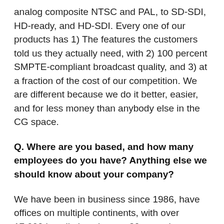analog composite NTSC and PAL, to SD-SDI, HD-ready, and HD-SDI. Every one of our products has 1) The features the customers told us they actually need, with 2) 100 percent SMPTE-compliant broadcast quality, and 3) at a fraction of the cost of our competition. We are different because we do it better, easier, and for less money than anybody else in the CG space.
Q. Where are you based, and how many employees do you have? Anything else we should know about your company?
We have been in business since 1986, have offices on multiple continents, with over 17,000 installations in over 80 countries worldwide. Plus, we are really nice to our customers. We are a multicultural and